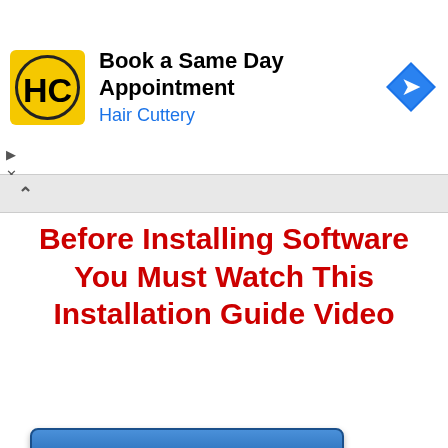[Figure (screenshot): Hair Cuttery advertisement banner with logo, text 'Book a Same Day Appointment', 'Hair Cuttery', and a blue navigation arrow icon. Small play and close controls on left.]
Before Installing Software You Must Watch This Installation Guide Video
[Figure (screenshot): Blue button labeled 'How to Install this Software']
[Figure (screenshot): Gray video/content area with a blue download button partially visible at bottom]